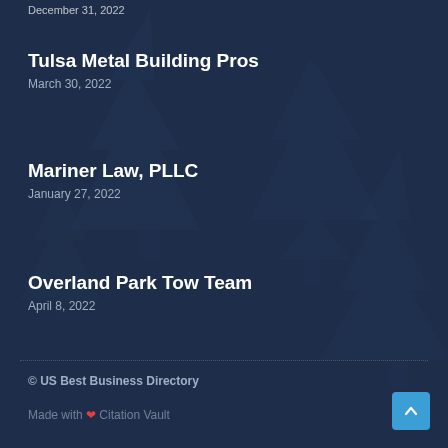December 31, 2022
Tulsa Metal Building Pros
March 30, 2022
Mariner Law, PLLC
January 27, 2022
Overland Park Tow Team
April 8, 2022
© US Best Business Directory
Made with ❤ Citation Vault